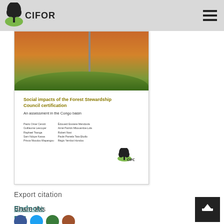CIFOR
[Figure (photo): Book cover for 'Social impacts of the Forest Stewardship Council certification: An assessment in the Congo basin'. Cover shows a photo of an African landscape with orange/red soil and green vegetation, with a vertical pole. Below the photo is the book title in olive/yellow text, subtitle, list of authors in two columns, and the CIFOR logo at the bottom.]
Export citation
Endnote
RIS
Share this